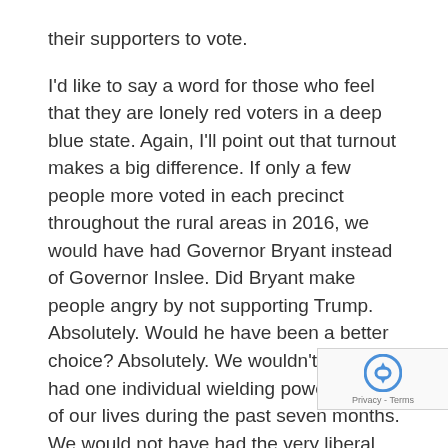their supporters to vote. I'd like to say a word for those who feel that they are lonely red voters in a deep blue state. Again, I'll point out that turnout makes a big difference. If only a few people more voted in each precinct throughout the rural areas in 2016, we would have had Governor Bryant instead of Governor Inslee. Did Bryant make people angry by not supporting Trump. Absolutely. Would he have been a better choice? Absolutely. We wouldn't have had one individual wielding power over all of our lives during the past seven months. We would not have had the very liberal laws passed by the Democrat-led legislature over the past 4 years. Just a few more votes in each neighborhood would have done it. But people stayed out because either they felt their vote didn't count, or they were angry with Bryant about remarks he made. We have paid and will continue to pay dearly for not having those votes. Please do not make that mistake again.